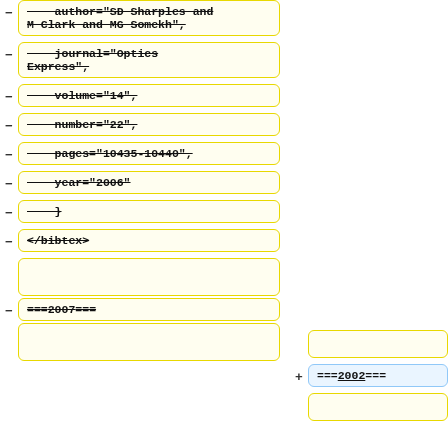author="SD Sharples and M Clark and MG Somekh",
journal="Optics Express",
volume="14",
number="22",
pages="10435-10440",
year="2006"
}
</bibtex>
===2007===
===2002===